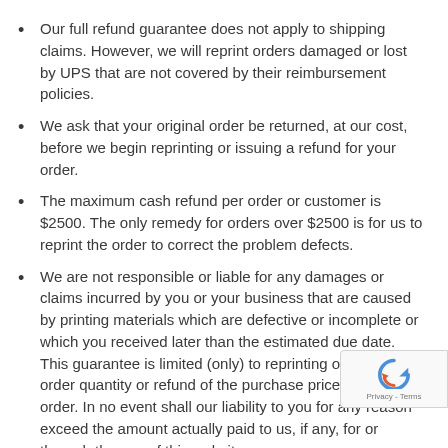Our full refund guarantee does not apply to shipping claims. However, we will reprint orders damaged or lost by UPS that are not covered by their reimbursement policies.
We ask that your original order be returned, at our cost, before we begin reprinting or issuing a refund for your order.
The maximum cash refund per order or customer is $2500. The only remedy for orders over $2500 is for us to reprint the order to correct the problem defects.
We are not responsible or liable for any damages or claims incurred by you or your business that are caused by printing materials which are defective or incomplete or which you received later than the estimated due date. This guarantee is limited (only) to reprinting of the original order quantity or refund of the purchase price of the order. In no event shall our liability to you for any reason exceed the amount actually paid to us, if any, for or through the use of this website.
Acme Printing is not liable for U.S. Postal Service mistakes, loss, or delayed delivery times.